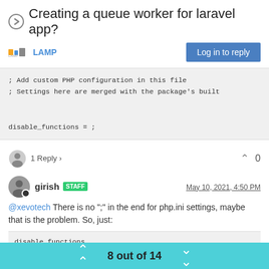Creating a queue worker for laravel app?
LAMP
[Figure (screenshot): Code block showing PHP configuration comments and disable_functions = ;]
1 Reply >   0
girish STAFF   May 10, 2021, 4:50 PM
@xevotech There is no ";" in the end for php.ini settings, maybe that is the problem. So, just:
[Figure (screenshot): Code block showing disable_functions (truncated)]
8 out of 14